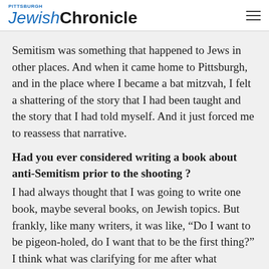Pittsburgh Jewish Chronicle
Semitism was something that happened to Jews in other places. And when it came home to Pittsburgh, and in the place where I became a bat mitzvah, I felt a shattering of the story that I had been taught and the story that I had told myself. And it just forced me to reassess that narrative.
Had you ever considered writing a book about anti-Semitism prior to the shooting ?
I had always thought that I was going to write one book, maybe several books, on Jewish topics. But frankly, like many writers, it was like, “Do I want to be pigeon-holed, do I want that to be the first thing?” I think what was clarifying for me after what happened in Pittsburgh is, a) I didn’t give a crap